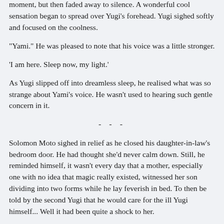needed Yami.
'It is all right Yugi. I am here.' The voices grew louder for a moment, but then faded away to silence. A wonderful cool sensation began to spread over Yugi's forehead. Yugi sighed softly and focused on the coolness.
"Yami." He was pleased to note that his voice was a little stronger.
'I am here. Sleep now, my light.'
As Yugi slipped off into dreamless sleep, he realised what was so strange about Yami's voice. He wasn't used to hearing such gentle concern in it.
- - -
Solomon Moto sighed in relief as he closed his daughter-in-law's bedroom door. He had thought she'd never calm down. Still, he reminded himself, it wasn't every day that a mother, especially one with no idea that magic really existed, witnessed her son dividing into two forms while he lay feverish in bed. To then be told by the second Yugi that he would care for the ill Yugi himself... Well it had been quite a shock to her.
Solomon grinned wryly as he headed down the hall to Yugi's room.